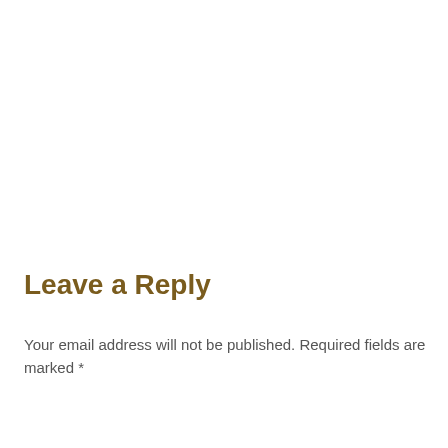Leave a Reply
Your email address will not be published. Required fields are marked *